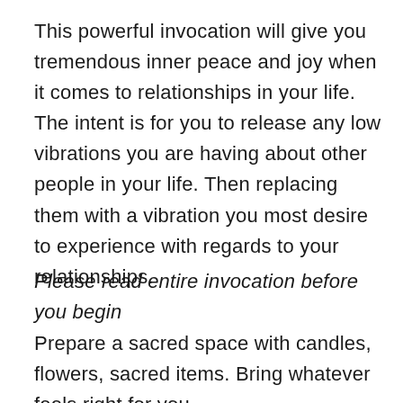This powerful invocation will give you tremendous inner peace and joy when it comes to relationships in your life. The intent is for you to release any low vibrations you are having about other people in your life. Then replacing them with a vibration you most desire to experience with regards to your relationships.
Please read entire invocation before you begin
Prepare a sacred space with candles, flowers, sacred items. Bring whatever feels right for you.